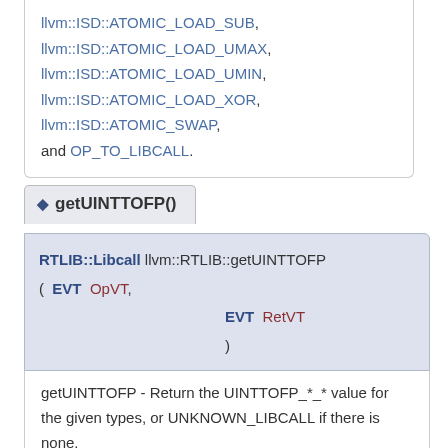llvm::ISD::ATOMIC_LOAD_SUB, llvm::ISD::ATOMIC_LOAD_UMAX, llvm::ISD::ATOMIC_LOAD_UMIN, llvm::ISD::ATOMIC_LOAD_XOR, llvm::ISD::ATOMIC_SWAP, and OP_TO_LIBCALL.
◆ getUINTTOFP()
RTLIB::Libcall llvm::RTLIB::getUINTTOFP ( EVT OpVT, EVT RetVT )
getUINTTOFP - Return the UINTTOFP_*_* value for the given types, or UNKNOWN_LIBCALL if there is none.
Definition at line 452 of file TargetLoweringBase.cpp.
References llvm::MVT::f128, llvm::MVT::f16, llvm::MVT::f32, llvm::MVT::f64, llvm::MVT::f80, llvm::MVT::i128.